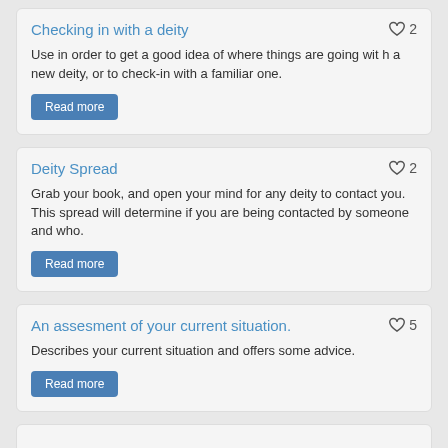Checking in with a deity
Use in order to get a good idea of where things are going with a new deity, or to check-in with a familiar one.
Read more
Deity Spread
Grab your book, and open your mind for any deity to contact you. This spread will determine if you are being contacted by someone and who.
Read more
An assesment of your current situation.
Describes your current situation and offers some advice.
Read more